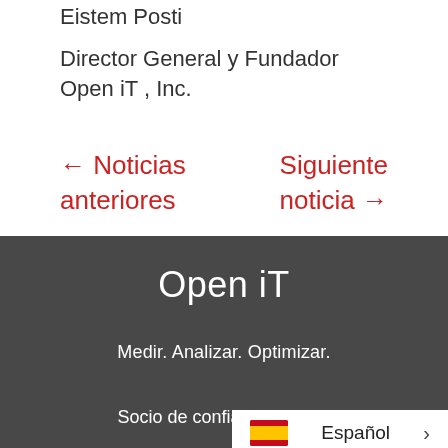Eistem Posti
Director General y Fundador
Open iT , Inc.
← Noticias anteriores
Siguiente noticia →
Open iT
Medir. Analizar. Optimizar.
Socio de confianza para m
Español